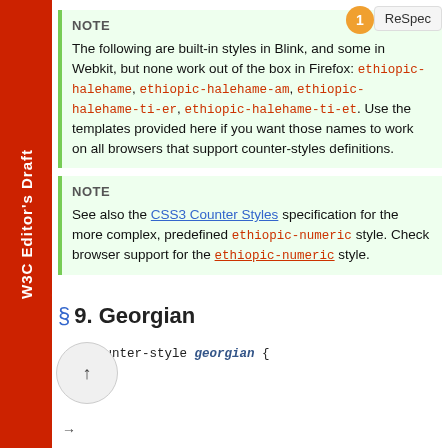W3C Editor's Draft
NOTE
NOTE
§ 9. Georgian
@counter-style georgian {